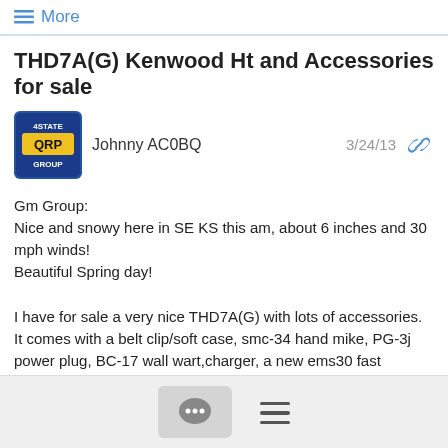≡ More
THD7A(G) Kenwood Ht and Accessories for sale
Johnny AC0BQ   3/24/13
Gm Group:
Nice and snowy here in SE KS this am, about 6 inches and 30 mph winds!
Beautiful Spring day!

I have for sale a very nice THD7A(G) with lots of accessories. It comes with a belt clip/soft case, smc-34 hand mike, PG-3j power plug, BC-17 wall wart,charger, a new ems30 fast charger with a pb-39h battery, a bf-11 battery holder, a GPS 2 Bionics GPS puck, several comm cables to interface it to a PC, and a BD-35 Mirage 144/440